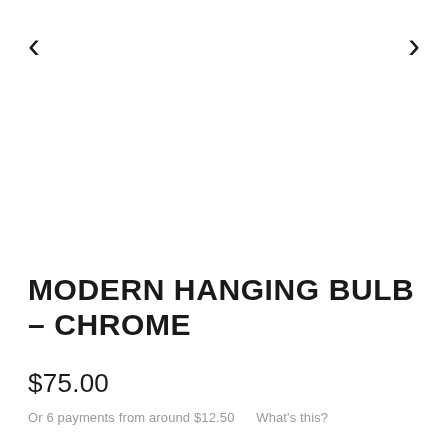[Figure (other): Left navigation arrow chevron (<)]
[Figure (other): Right navigation arrow chevron (>)]
MODERN HANGING BULB – CHROME
$75.00
Or 6 payments from around $12.50      What's this?